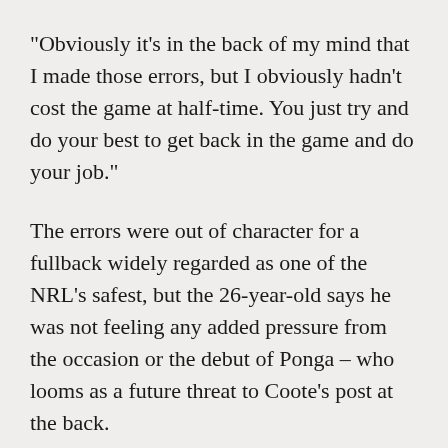"Obviously it's in the back of my mind that I made those errors, but I obviously hadn't cost the game at half-time. You just try and do your best to get back in the game and do your job."
The errors were out of character for a fullback widely regarded as one of the NRL's safest, but the 26-year-old says he was not feeling any added pressure from the occasion or the debut of Ponga – who looms as a future threat to Coote's post at the back.
While slight of frame, Ponga was sensational on debut in such a big game, showing both the